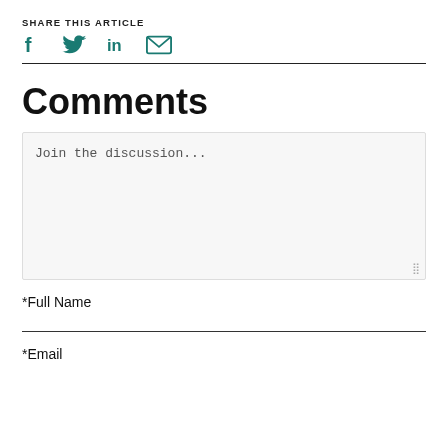SHARE THIS ARTICLE
[Figure (infographic): Social share icons: Facebook, Twitter, LinkedIn, Email (envelope) in teal color]
Comments
Join the discussion...
*Full Name
*Email